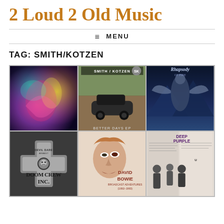2 Loud 2 Old Music
≡ MENU
TAG: SMITH/KOTZEN
[Figure (photo): Grid of 6 album covers: colorful abstract artwork, Smith/Kotzen Better Days EP, Rhapsody of Fire, Doom Crew Inc., David Bowie, Deep Purple]